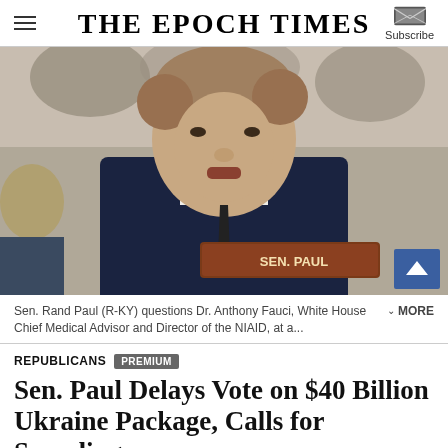THE EPOCH TIMES
[Figure (photo): Sen. Rand Paul (R-KY) speaking at a Senate hearing, seated behind a nameplate reading SEN. PAUL, wearing a dark suit and tie]
Sen. Rand Paul (R-KY) questions Dr. Anthony Fauci, White House Chief Medical Advisor and Director of the NIAID, at a... MORE
REPUBLICANS  PREMIUM
Sen. Paul Delays Vote on $40 Billion Ukraine Package, Calls for Spending